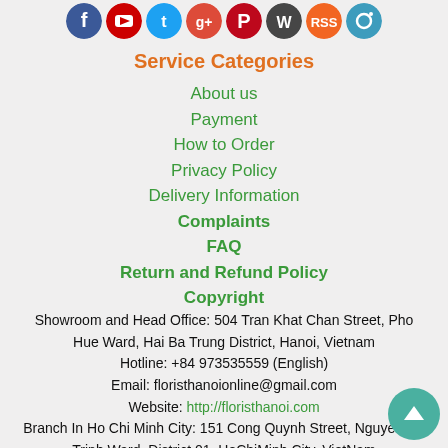[Figure (other): Row of social media icons: Facebook, YouTube, Twitter, Google+, Pinterest, WordPress, RSS, Instagram]
Service Categories
About us
Payment
How to Order
Privacy Policy
Delivery Information
Complaints
FAQ
Return and Refund Policy
Copyright
Showroom and Head Office: 504 Tran Khat Chan Street, Pho Hue Ward, Hai Ba Trung District, Hanoi, Vietnam
Hotline: +84 973535559 (English)
Email: floristhanoionline@gmail.com
Website: http://floristhanoi.com
Branch In Ho Chi Minh City: 151 Cong Quynh Street, Nguyen Cu Trinh Ward, District 01, HoChiMinh City, VietNam